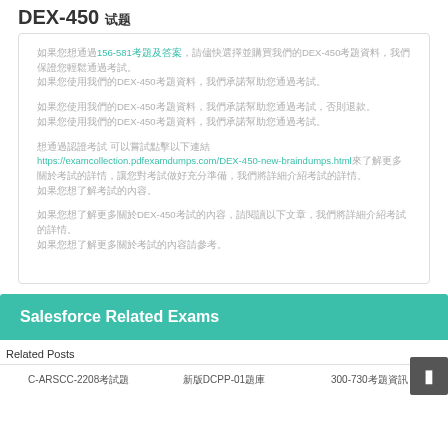DEX-450 试题
如果您想通過156-581考題及答案，請儘快選擇並購買我們的DEX-450考題資料，我們保證您輕鬆通過考試。
如果您使用我們的DEX-450考題資料，我們承諾幫助您通過考試，否則退款。
想通過認證考試 可以嘗試點擊以下連結
https://examcollection.pdfexamdumps.com/DEX-450-new-braindumps.html來了解更多關於考試的詳情，讓您對考試做好充分準備。
如果您想了解更多關於DEX-450考試的內容，請閱讀以下文章，我們將詳細介紹考試的詳情。
Salesforce Related Exams
Related Posts
C-ARSCC-2208考試題	新版DCPP-01題庫	300-730考題資訊